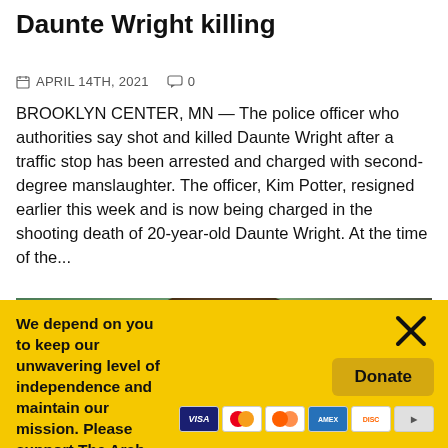Daunte Wright killing
APRIL 14TH, 2021   0
BROOKLYN CENTER, MN — The police officer who authorities say shot and killed Daunte Wright after a traffic stop has been arrested and charged with second-degree manslaughter. The officer, Kim Potter, resigned earlier this week and is now being charged in the shooting death of 20-year-old Daunte Wright. At the time of the...
[Figure (photo): Photo of Daunte Wright with a LOCAL badge overlay in the top-left corner]
We depend on you to keep our unwavering level of independence and maintain our mission. Please support The Arab American News today.